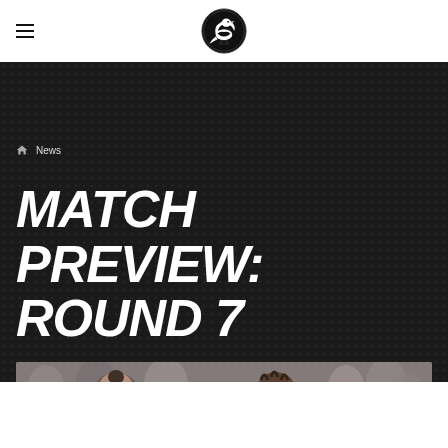[Figure (logo): Collingwood FC magpie logo in black and white circular crest]
News
MATCH PREVIEW: ROUND 7
[Figure (photo): Close-up photo of female AFL players with blurred crowd in background]